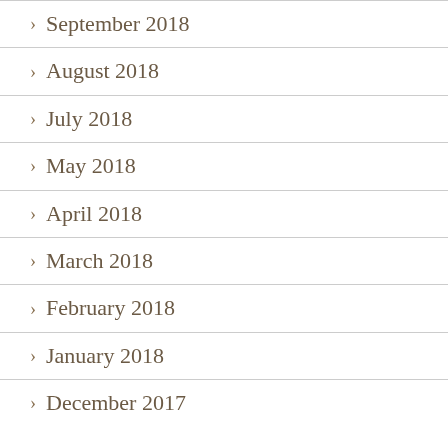September 2018
August 2018
July 2018
May 2018
April 2018
March 2018
February 2018
January 2018
December 2017